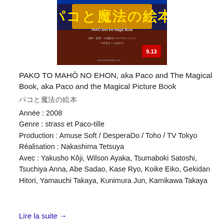[Figure (photo): Movie poster for Pako to Mahô no Ehon (Paco and the Magical Book), showing Japanese text with colorful anime-style artwork and the date 9.13]
PAKO TO MAHÔ NO EHON, aka Paco and The Magical Book, aka Paco and the Magical Picture Book
パコと魔法の絵本
Année : 2008
Genre : strass et Paco-tille
Production : Amuse Soft / DesperaDo / Toho / TV Tokyo
Réalisation : Nakashima Tetsuya
Avec : Yakusho Kôji, Wilson Ayaka, Tsumaboki Satoshi, Tsuchiya Anna, Abe Sadao, Kase Ryo, Koike Eiko, Gekidan Hitori, Yamauchi Takaya, Kunimura Jun, Kamikawa Takaya
Lire la suite →